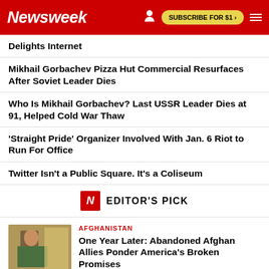Newsweek — SUBSCRIBE FOR $1 >
Delights Internet
Mikhail Gorbachev Pizza Hut Commercial Resurfaces After Soviet Leader Dies
Who Is Mikhail Gorbachev? Last USSR Leader Dies at 91, Helped Cold War Thaw
'Straight Pride' Organizer Involved With Jan. 6 Riot to Run For Office
Twitter Isn't a Public Square. It's a Coliseum
EDITOR'S PICK
AFGHANISTAN
One Year Later: Abandoned Afghan Allies Ponder America's Broken Promises
[Figure (photo): Photo of a person seated indoors, possibly in Afghanistan]